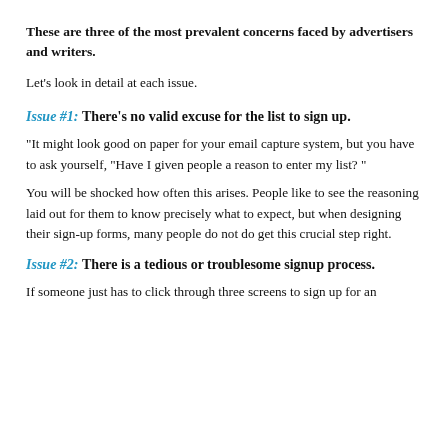These are three of the most prevalent concerns faced by advertisers and writers.
Let's look in detail at each issue.
Issue #1: There's no valid excuse for the list to sign up.
“It might look good on paper for your email capture system, but you have to ask yourself, “Have I given people a reason to enter my list? ”
You will be shocked how often this arises. People like to see the reasoning laid out for them to know precisely what to expect, but when designing their sign-up forms, many people do not do get this crucial step right.
Issue #2: There is a tedious or troublesome signup process.
If someone just has to click through three screens to sign up for an